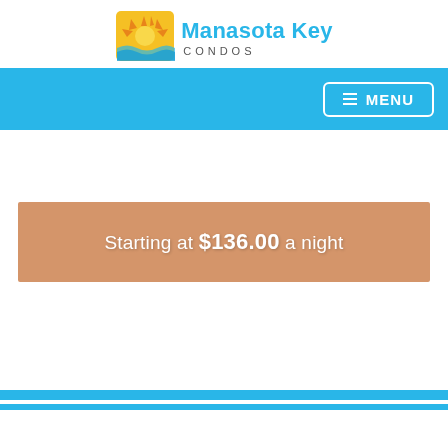[Figure (logo): Manasota Key Condos logo with sun and water graphic and blue text]
[Figure (screenshot): Cyan/light blue navigation bar with white MENU button on the right]
Starting at $136.00 a night